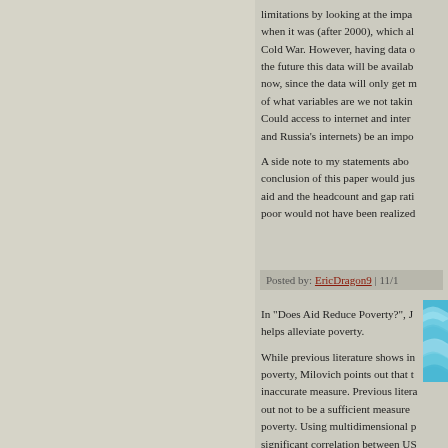limitations by looking at the impact of aid when it was (after 2000), which also post Cold War. However, having data o... the future this data will be availab... now, since the data will only get m... of what variables are we not taking... Could access to internet and intern... and Russia's internets) be an impo...
A side note to my statements above... conclusion of this paper would just... aid and the headcount and gap rati... poor would not have been realized...
Posted by: EricDragon9 | 11/1...
[Figure (photo): Avatar image with blue wavy pattern resembling water or fabric]
In "Does Aid Reduce Poverty?", J... helps alleviate poverty.
While previous literature shows in... poverty, Milovich points out that t... inaccurate measure. Previous litera... out not to be a sufficient measure ... poverty. Using multidimensional p... significant correlation between US...